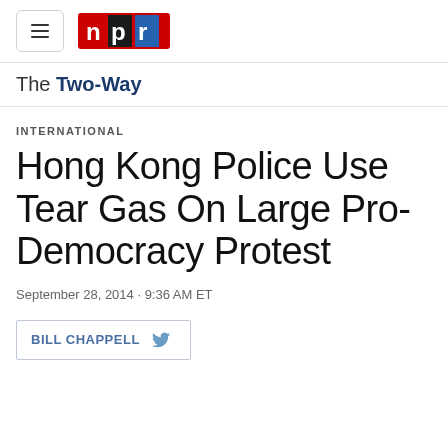NPR
The Two-Way
INTERNATIONAL
Hong Kong Police Use Tear Gas On Large Pro-Democracy Protest
September 28, 2014 · 9:36 AM ET
BILL CHAPPELL